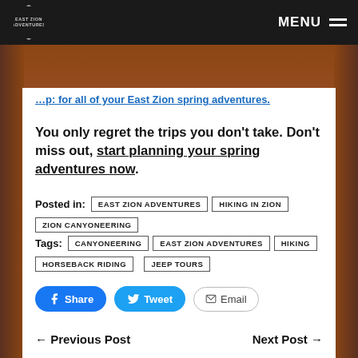MENU
…for all of your East Zion spring adventures.
You only regret the trips you don't take. Don't miss out, start planning your spring adventures now.
Posted in: EAST ZION ADVENTURES | HIKING IN ZION | ZION CANYONEERING
Tags: CANYONEERING | EAST ZION ADVENTURES | HIKING | HORSEBACK RIDING | JEEP TOURS
Share  Tweet  Email
← Previous Post    Next Post →